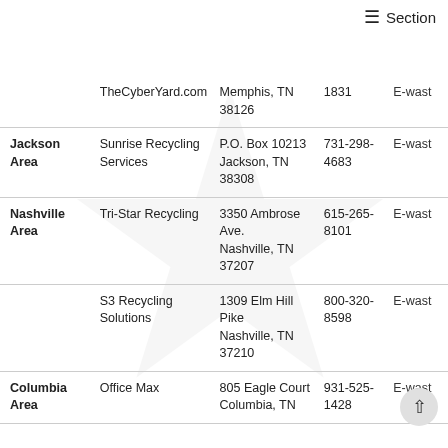≡ Section
| Area | Business | Address | Phone | Type |
| --- | --- | --- | --- | --- |
|  | TheCyberYard.com | Memphis, TN 38126 | 1831 | E-wast |
| Jackson Area | Sunrise Recycling Services | P.O. Box 10213 Jackson, TN 38308 | 731-298-4683 | E-wast |
| Nashville Area | Tri-Star Recycling | 3350 Ambrose Ave. Nashville, TN 37207 | 615-265-8101 | E-wast |
|  | S3 Recycling Solutions | 1309 Elm Hill Pike Nashville, TN 37210 | 800-320-8598 | E-wast |
| Columbia Area | Office Max | 805 Eagle Court Columbia, TN | 931-525-1428 | E-wast |